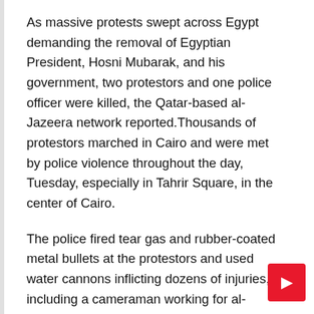As massive protests swept across Egypt demanding the removal of Egyptian President, Hosni Mubarak, and his government, two protestors and one police officer were killed, the Qatar-based al-Jazeera network reported.Thousands of protestors marched in Cairo and were met by police violence throughout the day, Tuesday, especially in Tahrir Square, in the center of Cairo.
The police fired tear gas and rubber-coated metal bullets at the protestors and used water cannons inflicting dozens of injuries, including a cameraman working for al-Jazeera.
The protests were peaceful and massive, but the police and the Egyptian security forces...